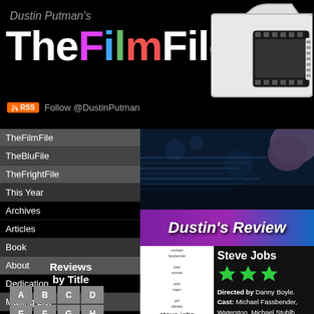Dustin Putman's TheFilmFile
Follow @DustinPutman
TheFilmFile
TheBluFile
TheFrightFile
This Year
Archives
Articles
Book
About
Dedication
Mailing List
Contact
Reviews by Title
[Figure (screenshot): Movie scene background image for Steve Jobs review]
Dustin's Review
[Figure (photo): Steve Jobs movie poster (white background with cast credits and title)]
Steve Jobs
Directed by Danny Boyle. Cast: Michael Fassbender, Waterston, Michael Stuhlb...